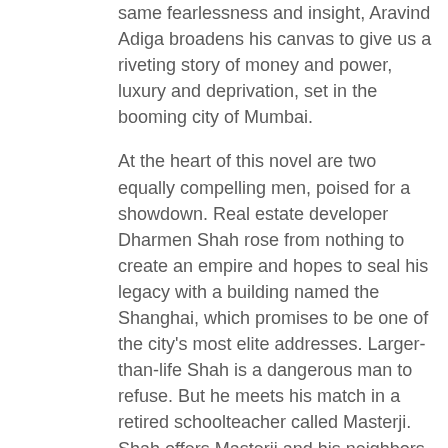same fearlessness and insight, Aravind Adiga broadens his canvas to give us a riveting story of money and power, luxury and deprivation, set in the booming city of Mumbai.

At the heart of this novel are two equally compelling men, poised for a showdown. Real estate developer Dharmen Shah rose from nothing to create an empire and hopes to seal his legacy with a building named the Shanghai, which promises to be one of the city's most elite addresses. Larger-than-life Shah is a dangerous man to refuse. But he meets his match in a retired schoolteacher called Masterji. Shah offers Masterji and his neighbors—the residents of Vishram Society's Tower A, a once respectable, now crumbling apartment building on whose site Shah's luxury high-rise would be built—a generous buyout. They can't believe their good fortune. Except, that is, for Masterji, who refuses to abandon the building he has long called home.